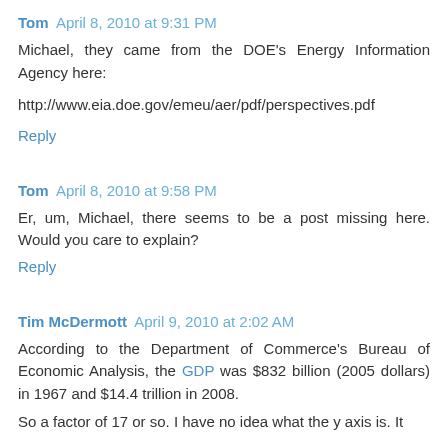Tom April 8, 2010 at 9:31 PM
Michael, they came from the DOE's Energy Information Agency here:
http://www.eia.doe.gov/emeu/aer/pdf/perspectives.pdf
Reply
Tom April 8, 2010 at 9:58 PM
Er, um, Michael, there seems to be a post missing here. Would you care to explain?
Reply
Tim McDermott April 9, 2010 at 2:02 AM
According to the Department of Commerce's Bureau of Economic Analysis, the GDP was $832 billion (2005 dollars) in 1967 and $14.4 trillion in 2008.
So a factor of 17 or so. I have no idea what the y axis is. It